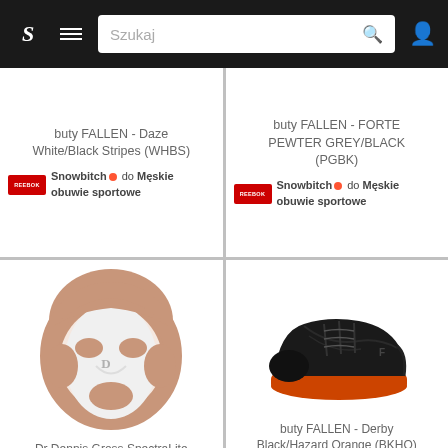S  ≡  Szukaj 🔍  👤
buty FALLEN - Daze White/Black Stripes (WHBS)
Snowbitch 🔴 do Męskie obuwie sportowe
buty FALLEN - FORTE PEWTER GREY/BLACK (PGBK)
Snowbitch 🔴 do Męskie obuwie sportowe
[Figure (photo): Dr Dennis Gross SpectraLite FaceWare Pro beauty mask device in rose gold and white]
Dr Dennis Gross SpectraLite FaceWare Pro pflegeaccessoi...
Douglas 🔴 do Pozostałe kosmetyki do twarzy
[Figure (photo): buty FALLEN - Derby Black/Hazard Orange (BKHO) black sneaker with orange sole]
buty FALLEN - Derby Black/Hazard Orange (BKHO) rozmiar:...
Snowbitch 🔴 do Męskie obuwie sportowe